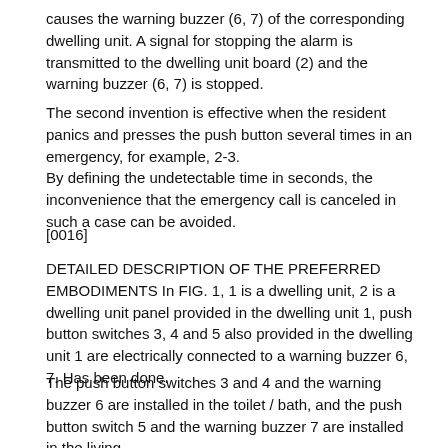causes the warning buzzer (6, 7) of the corresponding dwelling unit. A signal for stopping the alarm is transmitted to the dwelling unit board (2) and the warning buzzer (6, 7) is stopped.
The second invention is effective when the resident panics and presses the push button several times in an emergency, for example, 2-3.
By defining the undetectable time in seconds, the inconvenience that the emergency call is canceled in such a case can be avoided.
[0016]
DETAILED DESCRIPTION OF THE PREFERRED EMBODIMENTS In FIG. 1, 1 is a dwelling unit, 2 is a dwelling unit panel provided in the dwelling unit 1, push button switches 3, 4 and 5 also provided in the dwelling unit 1 are electrically connected to a warning buzzer 6, 7. Has been done.
The push button switches 3 and 4 and the warning buzzer 6 are installed in the toilet / bath, and the push button switch 5 and the warning buzzer 7 are installed in the living